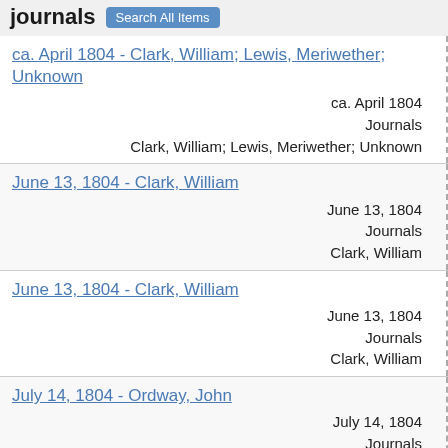journals  Search All Items
ca. April 1804 - Clark, William; Lewis, Meriwether; Unknown
ca. April 1804
Journals
Clark, William; Lewis, Meriwether; Unknown
June 13, 1804 - Clark, William
June 13, 1804
Journals
Clark, William
June 13, 1804 - Clark, William
June 13, 1804
Journals
Clark, William
July 14, 1804 - Ordway, John
July 14, 1804
Journals